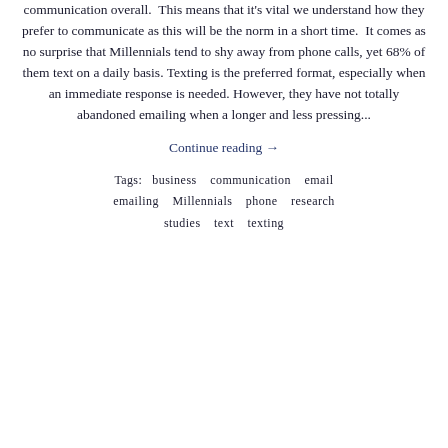communication overall.  This means that it's vital we understand how they prefer to communicate as this will be the norm in a short time.  It comes as no surprise that Millennials tend to shy away from phone calls, yet 68% of them text on a daily basis.  Texting is the preferred format, especially when an immediate response is needed. However, they have not totally abandoned emailing when a longer and less pressing...
Continue reading →
Tags:  business   communication   email   emailing   Millennials   phone   research   studies   text   texting